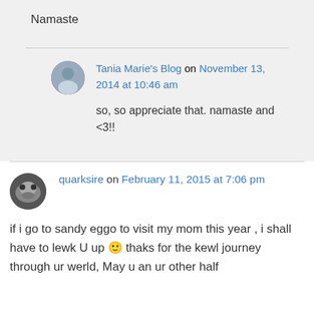Namaste
Tania Marie's Blog on November 13, 2014 at 10:46 am
so, so appreciate that. namaste and <3!!
quarksire on February 11, 2015 at 7:06 pm
if i go to sandy eggo to visit my mom this year , i shall have to lewk U up 🙂 thaks for the kewl journey through ur werld, May u an ur other half